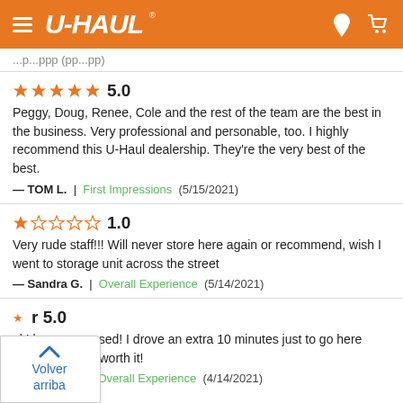U-HAUL
...p...ppp (pp...pp)
★★★★★ 5.0
Peggy, Doug, Renee, Cole and the rest of the team are the best in the business. Very professional and personable, too. I highly recommend this U-Haul dealership. They're the very best of the best.
— TOM L. | First Impressions (5/15/2021)
★☆☆☆☆ 1.0
Very rude staff!!! Will never store here again or recommend, wish I went to storage unit across the street
— Sandra G. | Overall Experience (5/14/2021)
★★★★★ 5.0
...ul I have ever used! I drove an extra 10 minutes just to go here because it was worth it!
— Patrick R. | Overall Experience (4/14/2021)